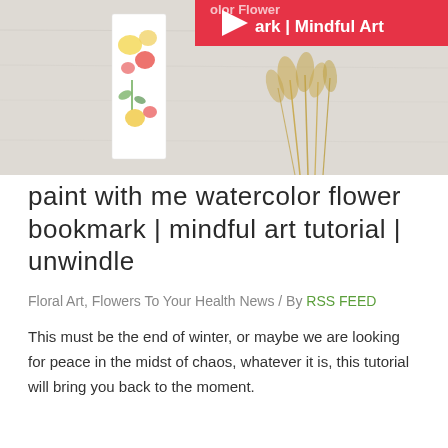[Figure (screenshot): YouTube video thumbnail showing a watercolor flower bookmark artwork on a light wooden surface with dried pampas grass. A red YouTube play button overlay and partial title text 'ark | Mindful Art' are visible in the top right corner.]
paint with me watercolor flower bookmark | mindful art tutorial | unwindle
Floral Art, Flowers To Your Health News / By RSS FEED
This must be the end of winter, or maybe we are looking for peace in the midst of chaos, whatever it is, this tutorial will bring you back to the moment.